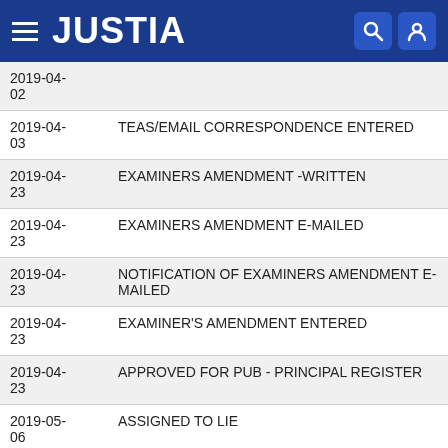JUSTIA
| Date | Event |
| --- | --- |
| 2019-04-
02 |  |
| 2019-04-
03 | TEAS/EMAIL CORRESPONDENCE ENTERED |
| 2019-04-
23 | EXAMINERS AMENDMENT -WRITTEN |
| 2019-04-
23 | EXAMINERS AMENDMENT E-MAILED |
| 2019-04-
23 | NOTIFICATION OF EXAMINERS AMENDMENT E-MAILED |
| 2019-04-
23 | EXAMINER'S AMENDMENT ENTERED |
| 2019-04-
23 | APPROVED FOR PUB - PRINCIPAL REGISTER |
| 2019-05-
06 | ASSIGNED TO LIE |